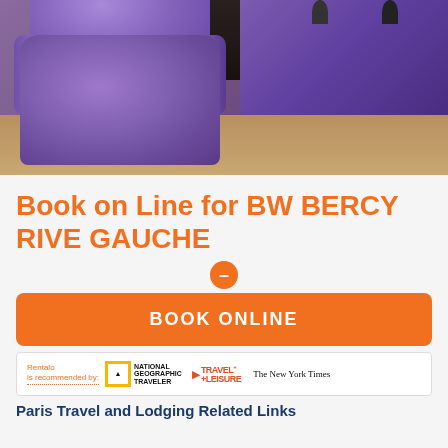[Figure (photo): Purple velvet lounge chairs with a dark table in the background, hotel lobby setting]
Book on Line for BW BERCY RIVE GAUCHE
BOOK ONLINE
[Figure (infographic): Rentalo is recommended by: National Geographic Traveler, Travel+Leisure, The New York Times logos]
Paris Travel and Lodging Related Links